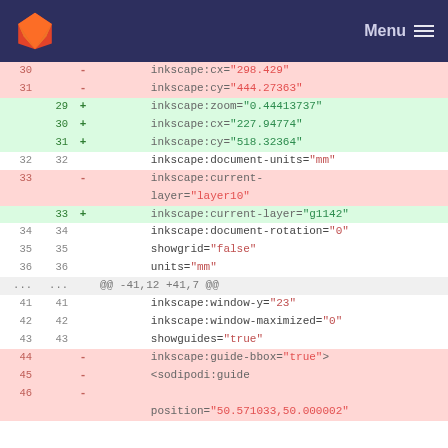Menu
[Figure (screenshot): GitLab diff view showing changes to an SVG/Inkscape XML file. Lines 30-46 are shown with removed lines (red) and added lines (green) for inkscape attributes such as cx, cy, zoom, document-units, current-layer, document-rotation, showgrid, units, window-y, window-maximized, showguides, guide-bbox, and sodipodi:guide position.]